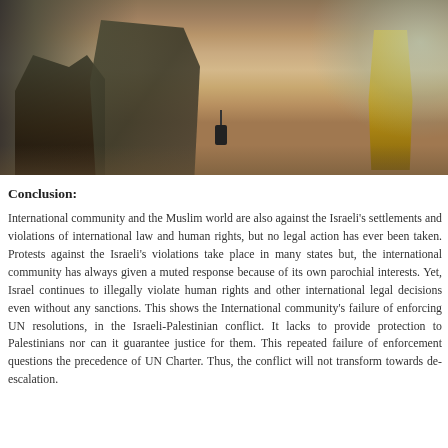[Figure (photo): Photograph showing soldiers and a child in what appears to be a conflict scene, with smoke visible on the right side. Figures are seen from approximately waist/knee down, walking on sandy/dusty ground.]
Conclusion:
International community and the Muslim world are also against the Israeli's settlements and violations of international law and human rights, but no legal action has ever been taken. Protests against the Israeli's violations take place in many states but, the international community has always given a muted response because of its own parochial interests. Yet, Israel continues to illegally violate human rights and other international legal decisions even without any sanctions. This shows the International community's failure of enforcing UN resolutions, in the Israeli-Palestinian conflict. It lacks to provide protection to Palestinians nor can it guarantee justice for them. This repeated failure of enforcement questions the precedence of UN Charter. Thus, the conflict will not transform towards de-escalation.